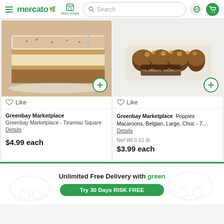mercato | More shops | Search | (globe icon) | (cart icon)
[Figure (photo): Tiramisu Square dessert slice with cream layers and cocoa dusting on a plate]
Like
Greenbay Marketplace
Greenbay Marketplace - Tiramisu Square Details

$4.99 each
[Figure (photo): Poppies Macaroons Belgian Large Choc packaged product in clear wrapper]
Like
Greenbay Marketplace  Poppies Macaroons, Belgian, Large, Choc - 7.... Details
Net Wt 0.51 lb
$3.99 each
Unlimited Free Delivery with green
Try 30 Days RISK FREE